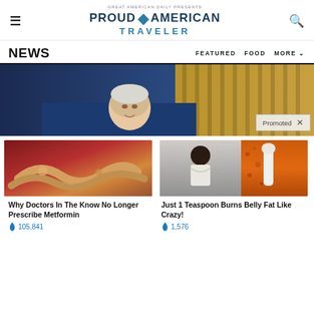GREAT AMERICAN DAILY PRESENTS PROUD AMERICAN TRAVELER
NEWS | FEATURED | FOOD | MORE
[Figure (photo): Hero image showing a man at a podium with golden curtain background and a 'Promoted X' badge overlay]
[Figure (photo): Ad image showing close-up of what appears to be internal organ/medical imagery]
Why Doctors In The Know No Longer Prescribe Metformin
🔥 105,841
[Figure (photo): Ad image split: woman with abs on left, orange spice/powder on right]
Just 1 Teaspoon Burns Belly Fat Like Crazy!
🔥 1,576